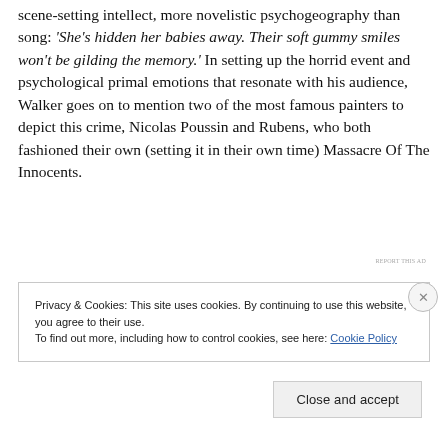scene-setting intellect, more novelistic psychogeography than song: 'She's hidden her babies away. Their soft gummy smiles won't be gilding the memory.' In setting up the horrid event and psychological primal emotions that resonate with his audience, Walker goes on to mention two of the most famous painters to depict this crime, Nicolas Poussin and Rubens, who both fashioned their own (setting it in their own time) Massacre Of The Innocents.
REPORT THIS AD
Privacy & Cookies: This site uses cookies. By continuing to use this website, you agree to their use.
To find out more, including how to control cookies, see here: Cookie Policy
Close and accept